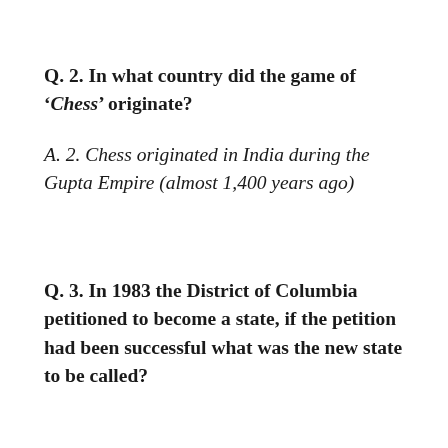Q.  2. In what country did the game of 'Chess' originate?
A.  2. Chess originated in India during the Gupta Empire (almost 1,400 years ago)
Q.  3.  In 1983 the District of Columbia petitioned to become a state, if the petition had been successful what was the new state to be called?